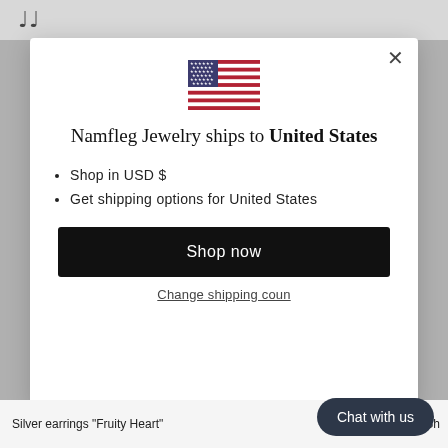[Figure (illustration): US flag emoji/icon shown at top center of modal]
Namfleg Jewelry ships to United States
Shop in USD $
Get shipping options for United States
Shop now
Change shipping coun
Chat with us
Silver earrings "Fruity Heart"
Silver earrings "Sh